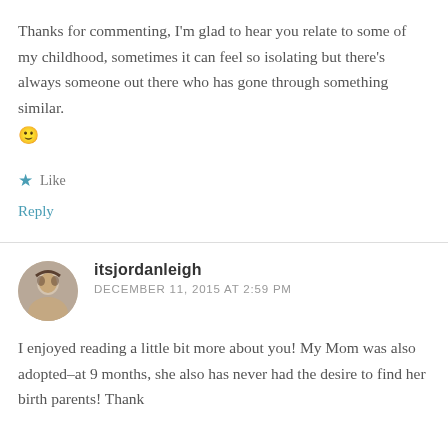Thanks for commenting, I'm glad to hear you relate to some of my childhood, sometimes it can feel so isolating but there's always someone out there who has gone through something similar. 🙂
Like
Reply
itsjordanleigh
DECEMBER 11, 2015 AT 2:59 PM
I enjoyed reading a little bit more about you! My Mom was also adopted–at 9 months, she also has never had the desire to find her birth parents! Thank